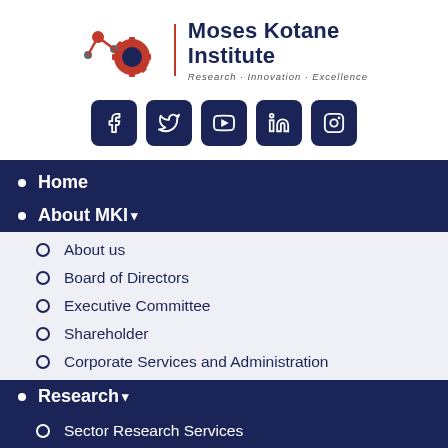[Figure (logo): Moses Kotane Institute logo with red and dark navy graphic mark, vertical red divider, bold text 'Moses Kotane Institute' and tagline 'Research · Innovation · Excellence']
[Figure (infographic): Row of 5 dark navy social media icon buttons: Facebook, Twitter, YouTube, LinkedIn, Instagram]
Home
About MKI▾
About us
Board of Directors
Executive Committee
Shareholder
Corporate Services and Administration
Research▾
Sector Research Services
Innovation and Technology Services